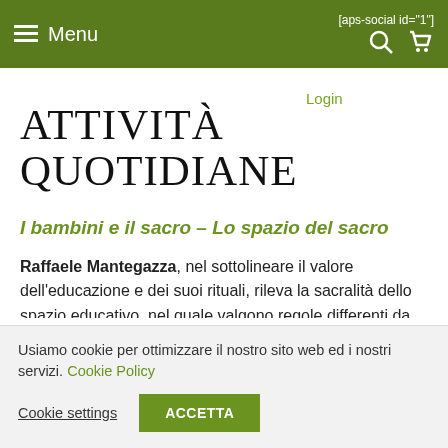Menu  [aps-social id="1"]
Login
ATTIVITÀ QUOTIDIANE
I bambini e il sacro – Lo spazio del sacro
Raffaele Mantegazza, nel sottolineare il valore dell'educazione e dei suoi rituali, rileva la sacralità dello spazio educativo, nel quale valgono regole differenti da quelle esterne, suggerisce, in
Usiamo cookie per ottimizzare il nostro sito web ed i nostri servizi. Cookie Policy
Cookie settings
ACCETTA